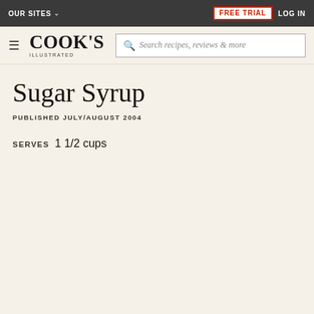OUR SITES | FREE TRIAL | LOG IN
[Figure (logo): Cook's Illustrated logo with search bar]
Sugar Syrup
PUBLISHED JULY/AUGUST 2004
SERVES 1 1/2 cups